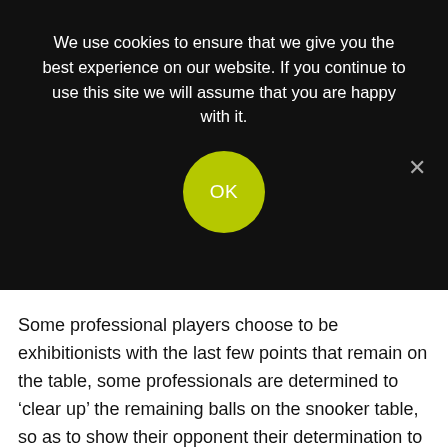We use cookies to ensure that we give you the best experience on our website. If you continue to use this site we will assume that you are happy with it.
OK
Some professional players choose to be exhibitionists with the last few points that remain on the table, some professionals are determined to ‘clear up’ the remaining balls on the snooker table, so as to show their opponent their determination to win, but most of all you can evidently see that the levels of anxiety and fear have almost vanished at that point. For most sporting